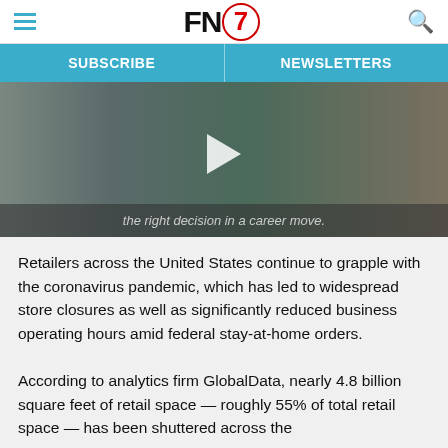FN7 — SUBSCRIBE | NEWSLETTERS
[Figure (screenshot): Video thumbnail showing a person in a denim jacket; subtitle reads 'the right decision in a career move.']
Retailers across the United States continue to grapple with the coronavirus pandemic, which has led to widespread store closures as well as significantly reduced business operating hours amid federal stay-at-home orders.
According to analytics firm GlobalData, nearly 4.8 billion square feet of retail space — roughly 55% of total retail space — has been shuttered across the